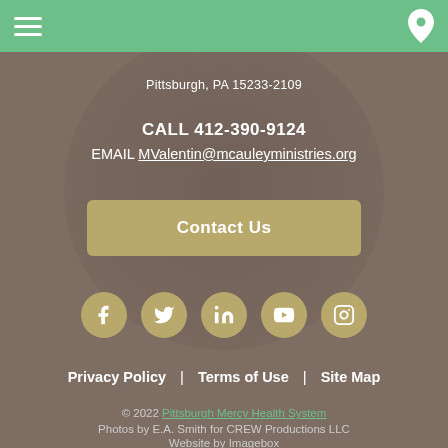Pittsburgh, PA 15233-2109
CALL 412-390-9124
EMAIL MValentin@mcauleyministries.org
Contact Us
[Figure (infographic): Five social media icon circles: Facebook, Twitter, LinkedIn, YouTube, Instagram]
Privacy Policy  |  Terms of Use  |  Site Map
© 2022 Pittsburgh Mercy Health System
Photos by E.A. Smith for CREW Productions LLC
Website by Imagebox